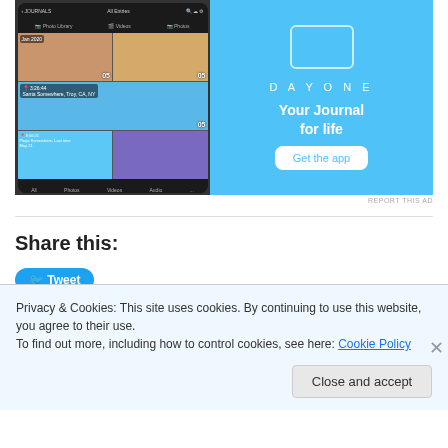[Figure (screenshot): Day One app advertisement. Left side shows a smartphone with a photo journal app grid displaying photos (Jan 2020). Right side on blue background shows DAYONE logo, tagline 'Your Journal for life', and a 'Get the app' button.]
REPORT THIS AD
Share this:
Tweet
Privacy & Cookies: This site uses cookies. By continuing to use this website, you agree to their use.
To find out more, including how to control cookies, see here: Cookie Policy
Close and accept